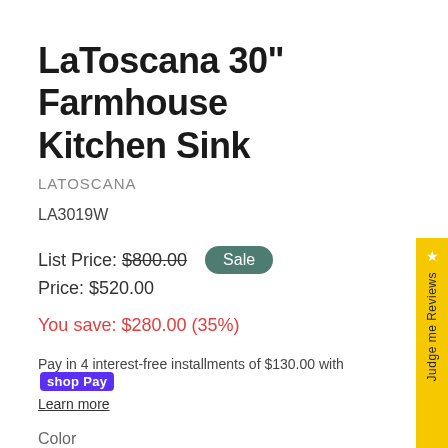LaToscana 30" Farmhouse Kitchen Sink
LATOSCANA
LA3019W
List Price: $800.00   Sale
Price: $520.00
You save: $280.00 (35%)
Pay in 4 interest-free installments of $130.00 with Shop Pay
Learn more
Color